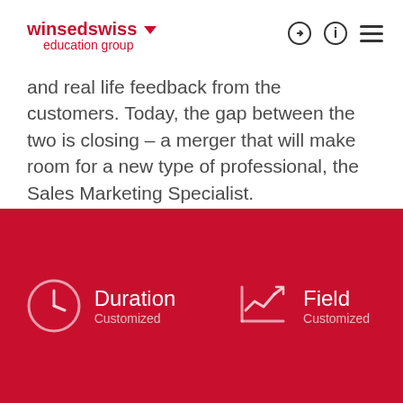winsedswiss education group
and real life feedback from the customers. Today, the gap between the two is closing – a merger that will make room for a new type of professional, the Sales Marketing Specialist.
[Figure (infographic): Red background section with two info blocks: Duration (Customized) with clock icon, and Field (Customized) with trend chart icon]